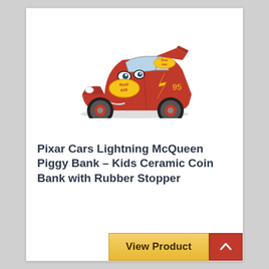[Figure (photo): Pixar Cars Lightning McQueen red ceramic piggy bank / toy car with Rusteze decals, number 95, yellow lightning bolt, cartoonish eyes, shown at a 3/4 angle]
Pixar Cars Lightning McQueen Piggy Bank – Kids Ceramic Coin Bank with Rubber Stopper
View Product